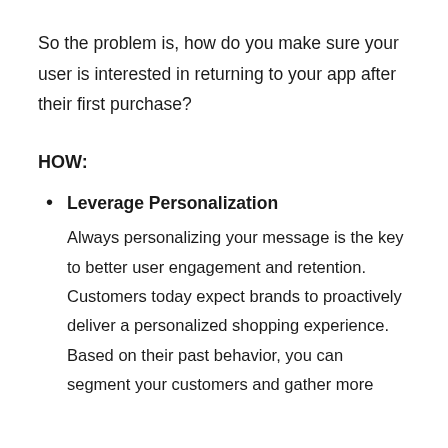So the problem is, how do you make sure your user is interested in returning to your app after their first purchase?
HOW:
Leverage Personalization
Always personalizing your message is the key to better user engagement and retention. Customers today expect brands to proactively deliver a personalized shopping experience. Based on their past behavior, you can segment your customers and gather more